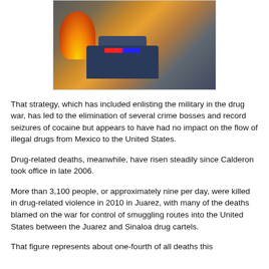[Figure (photo): Police responding to a violent scene with a burning vehicle and police car with flashing lights]
That strategy, which has included enlisting the military in the drug war, has led to the elimination of several crime bosses and record seizures of cocaine but appears to have had no impact on the flow of illegal drugs from Mexico to the United States.
Drug-related deaths, meanwhile, have risen steadily since Calderon took office in late 2006.
More than 3,100 people, or approximately nine per day, were killed in drug-related violence in 2010 in Juarez, with many of the deaths blamed on the war for control of smuggling routes into the United States between the Juarez and Sinaloa drug cartels.
That figure represents about one-fourth of all deaths this